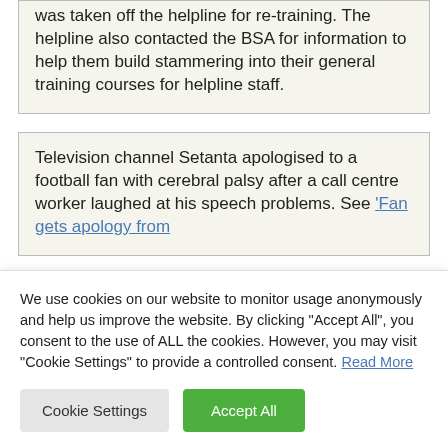was taken off the helpline for re-training. The helpline also contacted the BSA for information to help them build stammering into their general training courses for helpline staff.
Television channel Setanta apologised to a football fan with cerebral palsy after a call centre worker laughed at his speech problems. See 'Fan gets apology from
We use cookies on our website to monitor usage anonymously and help us improve the website. By clicking "Accept All", you consent to the use of ALL the cookies. However, you may visit "Cookie Settings" to provide a controlled consent. Read More